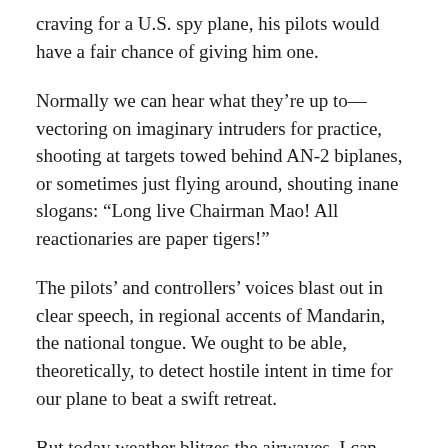craving for a U.S. spy plane, his pilots would have a fair chance of giving him one.
Normally we can hear what they’re up to—vectoring on imaginary intruders for practice, shooting at targets towed behind AN-2 biplanes, or sometimes just flying around, shouting inane slogans: “Long live Chairman Mao! All reactionaries are paper tigers!”
The pilots’ and controllers’ voices blast out in clear speech, in regional accents of Mandarin, the national tongue. We ought to be able, theoretically, to detect hostile intent in time for our plane to beat a swift retreat.
But today weather blitzes the airwaves. I can catch only a few callsigns.
As our confining cabin bucks up and down, tilts left and right at odd moments, sweat bathes my